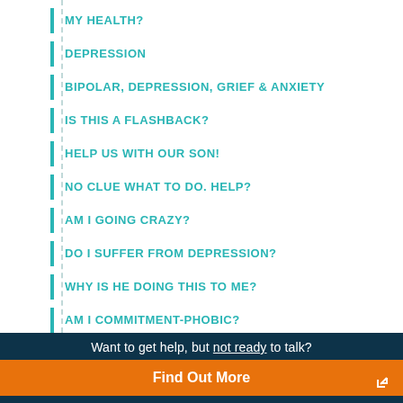MY HEALTH?
DEPRESSION
BIPOLAR, DEPRESSION, GRIEF & ANXIETY
IS THIS A FLASHBACK?
HELP US WITH OUR SON!
NO CLUE WHAT TO DO. HELP?
AM I GOING CRAZY?
DO I SUFFER FROM DEPRESSION?
WHY IS HE DOING THIS TO ME?
AM I COMMITMENT-PHOBIC?
Want to get help, but not ready to talk? Find Out More